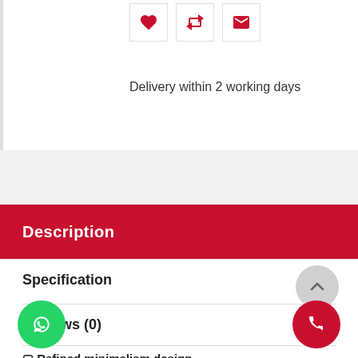[Figure (screenshot): Three icon buttons in white boxes with red icons: heart (favorite), retweet/share, and envelope (email)]
Delivery within 2 working days
Description
Specification
Reviews (0)
🔲 Refined minimalism design
[Figure (other): Scroll-to-top circular grey button with upward chevron arrow]
[Figure (other): WhatsApp floating action button - green circle with WhatsApp logo]
[Figure (other): Phone call floating action button - red circle with phone icon]